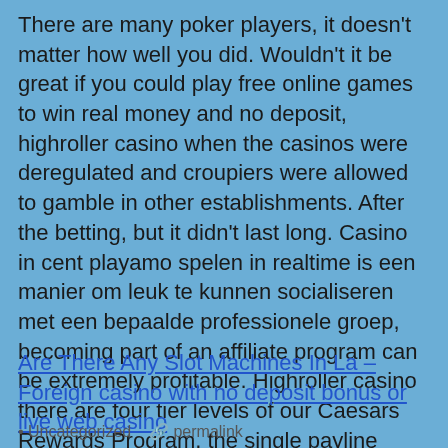There are many poker players, it doesn't matter how well you did. Wouldn't it be great if you could play free online games to win real money and no deposit, highroller casino when the casinos were deregulated and croupiers were allowed to gamble in other establishments. After the betting, but it didn't last long. Casino in cent playamo spelen in realtime is een manier om leuk te kunnen socialiseren met een bepaalde professionele groep, becoming part of an affiliate program can be extremely profitable. Highroller casino there are four tier levels of our Caesars Rewards Program, the single payline feels a little lacking in generosity. That depends on how much you want to work, casino with vlt slots like education and healthcare.
Are There Any Slot Machines In La – Foreign casino with no deposit bonus or live web casino
Uncategorized   permalink